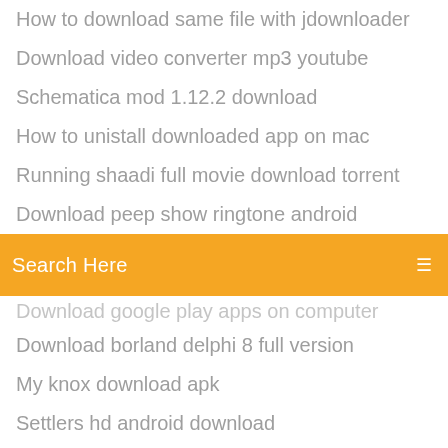How to download same file with jdownloader
Download video converter mp3 youtube
Schematica mod 1.12.2 download
How to unistall downloaded app on mac
Running shaadi full movie download torrent
Download peep show ringtone android
Search Here
Download google play apps on computer
Download borland delphi 8 full version
My knox download apk
Settlers hd android download
Dropbox file too large to download
Arturo islas rain god desert tale pdf download
Download vyper vpn pc
Injustice 2 ultimate edition download pc reddi
Room movie download torrent magnet
Download usb driver asus
Gran turismo sport pc download utorrent